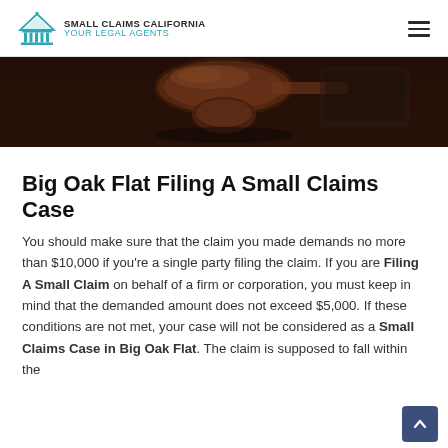SMALL CLAIMS CALIFORNIA YOUR LEGAL AGENTS
[Figure (photo): Close-up photo of a wooden judge's gavel on a dark surface, taken from above at an angle, with a blurred background.]
Big Oak Flat Filing A Small Claims Case
You should make sure that the claim you made demands no more than $10,000 if you're a single party filing the claim. If you are Filing A Small Claim on behalf of a firm or corporation, you must keep in mind that the demanded amount does not exceed $5,000. If these conditions are not met, your case will not be considered as a Small Claims Case in Big Oak Flat. The claim is supposed to fall within the